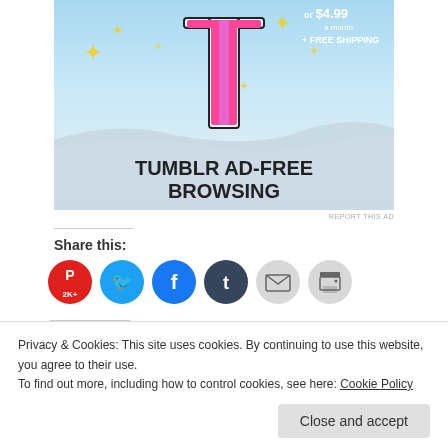[Figure (illustration): Tumblr AD-FREE BROWSING advertisement banner with a stylized pink 'T' logo, yellow stars, blue sky background, and wave divider. Text reads 'TUMBLR AD-FREE BROWSING']
REPORT THIS AD
Share this:
[Figure (infographic): Row of social sharing icon buttons: Pinterest (red, 2K+), Twitter (blue), Facebook (blue), Tumblr (dark blue), Email (gray), Print (gray)]
Privacy & Cookies: This site uses cookies. By continuing to use this website, you agree to their use.
To find out more, including how to control cookies, see here: Cookie Policy
Close and accept